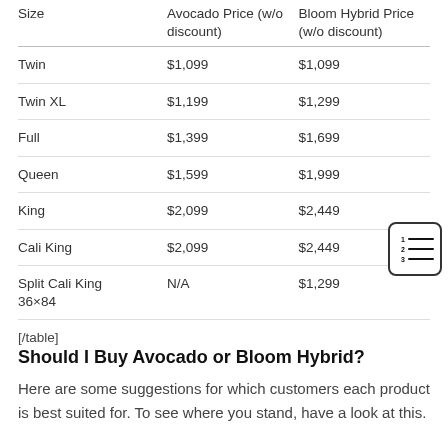| Size | Avocado Price (w/o discount) | Bloom Hybrid Price (w/o discount) |
| --- | --- | --- |
| Twin | $1,099 | $1,099 |
| Twin XL | $1,199 | $1,299 |
| Full | $1,399 | $1,699 |
| Queen | $1,599 | $1,999 |
| King | $2,099 | $2,449 |
| Cali King | $2,099 | $2,449 |
| Split Cali King 36×84 | N/A | $1,299 |
[/table]
Should I Buy Avocado or Bloom Hybrid?
Here are some suggestions for which customers each product is best suited for. To see where you stand, have a look at this.